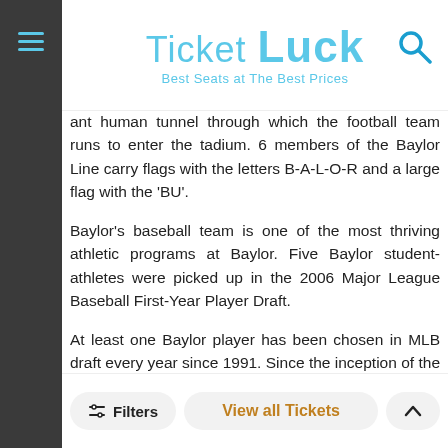Ticket Luck — Best Seats at The Best Prices
ant human tunnel through which the football team runs to enter the tadium. 6 members of the Baylor Line carry flags with the letters B-A-L-O-R and a large flag with the 'BU'.
Baylor's baseball team is one of the most thriving athletic programs at Baylor. Five Baylor student-athletes were picked up in the 2006 Major League Baseball First-Year Player Draft.
At least one Baylor player has been chosen in MLB draft every year since 1991. Since the inception of the Big 12 Conference, Baylor years have carried the best conference record at 137-83 (.623).
In 2005, the Bears played one of the toughest schedules in the nation ... th... had beaten University of Texas 3 times during conference play yet they lost to it in